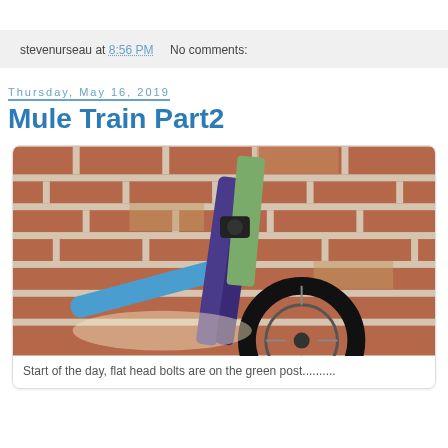stevenurseau at 8:56 PM    No comments:
Thursday, May 16, 2019
Mule Train Part2
[Figure (photo): Close-up photo of a BMX bicycle's front fork and handlebars leaning against a red brick wall. The bike frame is blue/purple. A green metal post is attached to the fork. The front wheel with a black tire is visible at the bottom right.]
Start of the day, flat head bolts are on the green post..........